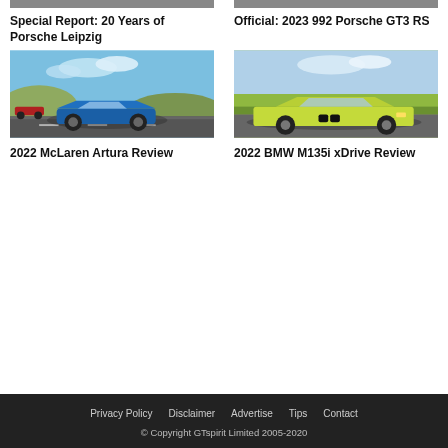[Figure (photo): Cropped top of Porsche Leipzig article image]
[Figure (photo): Cropped top of 2023 992 Porsche GT3 RS article image]
Special Report: 20 Years of Porsche Leipzig
Official: 2023 992 Porsche GT3 RS
[Figure (photo): Blue McLaren Artura on a race track]
[Figure (photo): Lime green BMW M135i xDrive on a road]
2022 McLaren Artura Review
2022 BMW M135i xDrive Review
Privacy Policy   Disclaimer   Advertise   Tips   Contact
© Copyright GTspirit Limited 2005-2020